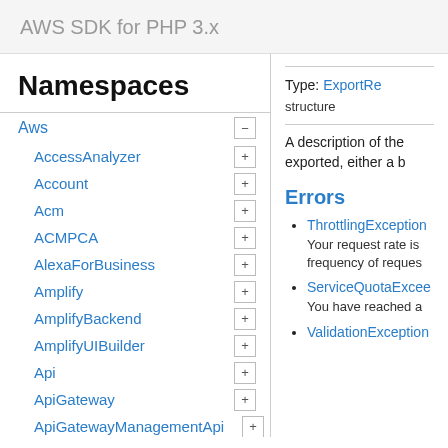AWS SDK for PHP 3.x
Namespaces
Aws
AccessAnalyzer
Account
Acm
ACMPCA
AlexaForBusiness
Amplify
AmplifyBackend
AmplifyUIBuilder
Api
ApiGateway
ApiGatewayManagementApi
Type: ExportRe
structure
A description of the exported, either a b
Errors
ThrottlingException
Your request rate is frequency of reques
ServiceQuotaExcee
You have reached a
ValidationException